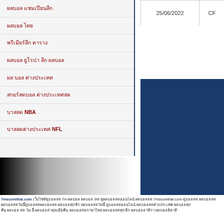| 25/06/2022 | CF |
| --- | --- |
ผลบอล แชมเปียนลีก
ผลบอล ไทย
พรีเมียร์ลีก ตาราง
ผลบอล ยูโรปา ลีก ผลบอล
ผล บอล ต่างประเทศ
สกอร์สดบอล ต่างประเทศสด
บาสสด NBA
บาสสดต่างประเทศ NFL
[Figure (illustration): Black to white gradient rectangle]
7mscorethai.com เว็บไซต์ดูบอลสด 7m ผลบอล ผลบอล สด ดูผลบอลสดออนไลน์ ผลบอลสด 7mscorethai.com ดูบอลสด ผลบอลสด ผลบอลสดวันนี้ดูบอลสดผลบอลสด ผลบอลทุกลีก ผลบอลสดวันนี้ ดูบอลสดออนไลน์ ผลบอลสด